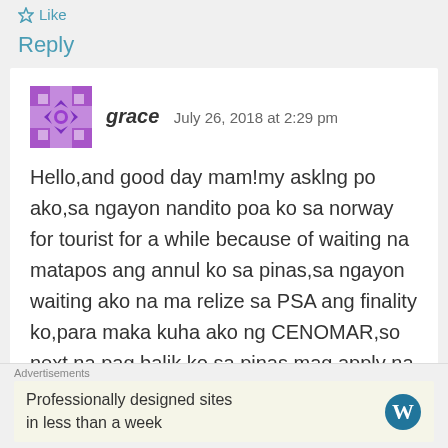Like
Reply
grace   July 26, 2018 at 2:29 pm
Hello,and good day mam!my asklng po ako,sa ngayon nandito poa ko sa norway for tourist for a while because of waiting na matapos ang annul ko sa pinas,sa ngayon waiting ako na ma relize sa PSA ang finality ko,para maka kuha ako ng CENOMAR,so next na pag balik ko sa pinas mag apply na ako ng fiance visa,ano ba ang mga requirements,at ilang bwan ba para ma grant ang
Advertisements
Professionally designed sites in less than a week